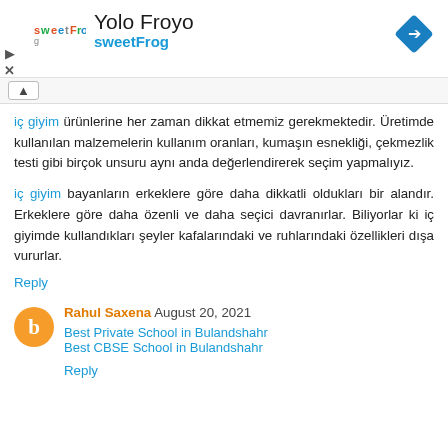[Figure (logo): sweetFrog logo with colorful text, next to 'Yolo Froyo' title and 'sweetFrog' subtitle in blue; blue diamond navigation icon on the right]
iç giyim ürünlerine her zaman dikkat etmemiz gerekmektedir. Üretimde kullanılan malzemelerin kullanım oranları, kumaşın esnekliği, çekmezlik testi gibi birçok unsuru aynı anda değerlendirerek seçim yapmalıyız.
iç giyim bayanların erkeklere göre daha dikkatli oldukları bir alandır. Erkeklere göre daha özenli ve daha seçici davranırlar. Biliyorlar ki iç giyimde kullandıkları şeyler kafalarındaki ve ruhlarındaki özellikleri dışa vururlar.
Reply
Rahul Saxena August 20, 2021
Best Private School in Bulandshahr
Best CBSE School in Bulandshahr
Reply